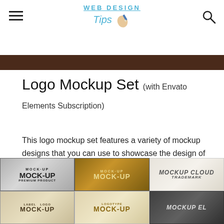WEB DESIGN Tips
[Figure (photo): Dark brown strip at the top of the page, partial hero image]
Logo Mockup Set (with Envato Elements Subscription)
This logo mockup set features a variety of mockup designs that you can use to showcase the design of your logo. The template includes smart objects and a helpful tutorial to help you customize them.
[Figure (photo): Grid of 6 logo mockup images showing various textures: silver foil, gold foil, light paper with cursive text, kraft paper, cream paper, and dark textured backgrounds]